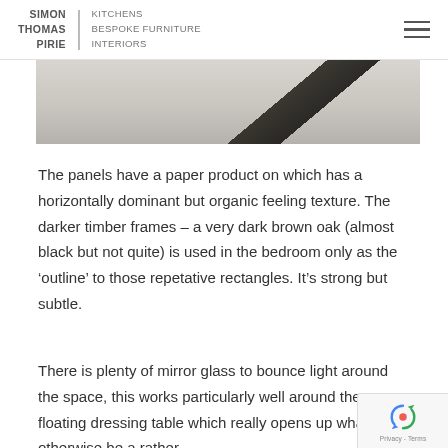SIMON THOMAS PIRIE | KITCHENS BESPOKE FURNITURE INTERIORS
[Figure (photo): Partial view of a bedroom interior showing panels with a horizontally textured paper surface and dark timber/diagonal black element]
The panels have a paper product on which has a horizontally dominant but organic feeling texture. The darker timber frames – a very dark brown oak (almost black but not quite) is used in the bedroom only as the ‘outline’ to those repetative rectangles. It’s strong but subtle.
There is plenty of mirror glass to bounce light around the space, this works particularly well around the floating dressing table which really opens up what would otherwise be a rather